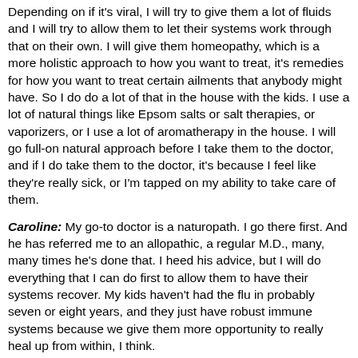Depending on if it's viral, I will try to give them a lot of fluids and I will try to allow them to let their systems work through that on their own. I will give them homeopathy, which is a more holistic approach to how you want to treat, it's remedies for how you want to treat certain ailments that anybody might have. So I do do a lot of that in the house with the kids. I use a lot of natural things like Epsom salts or salt therapies, or vaporizers, or I use a lot of aromatherapy in the house. I will go full-on natural approach before I take them to the doctor, and if I do take them to the doctor, it's because I feel like they're really sick, or I'm tapped on my ability to take care of them.
Caroline: My go-to doctor is a naturopath. I go there first. And he has referred me to an allopathic, a regular M.D., many, many times he's done that. I heed his advice, but I will do everything that I can do first to allow them to have their systems recover. My kids haven't had the flu in probably seven or eight years, and they just have robust immune systems because we give them more opportunity to really heal up from within, I think.
Jonathan: And that's what makes our immune system stronger, right, is getting an elevated temperature so that we can beat out the virus, so we can do things. I think a lot of times we are very quick to just hurry and shove the Tylenol and the Motrin, and my girls are younger than your kids, but it's that same fight.